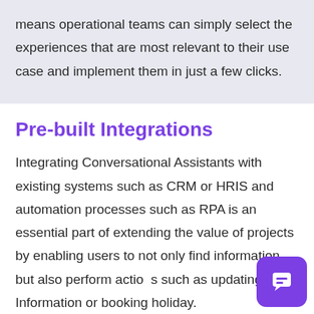means operational teams can simply select the experiences that are most relevant to their use case and implement them in just a few clicks.
Pre-built Integrations
Integrating Conversational Assistants with existing systems such as CRM or HRIS and automation processes such as RPA is an essential part of extending the value of projects by enabling users to not only find information but also perform actions such as updating Information or booking holiday.